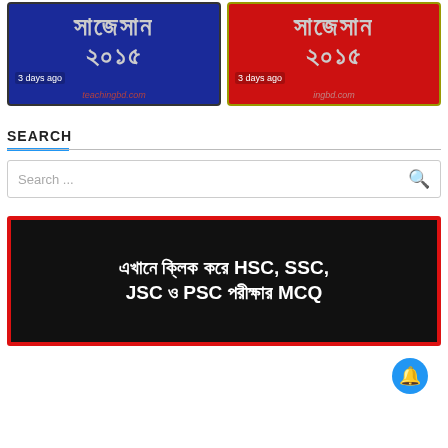[Figure (photo): Two thumbnail images side by side showing Bengali text 'Suggestion 2015' - left one on blue background, right one on red background, both with teachingbd.com watermark and '3 days ago' label]
SEARCH
[Figure (screenshot): Search input box with placeholder text 'Search ...' and a search icon on the right]
[Figure (photo): Banner image with black background and red border showing Bengali and English text: 'এখানে ক্লিক করে HSC, SSC, JSC ও PSC পরীক্ষার MCQ']
[Figure (other): Blue circular notification bell button in the bottom right corner]